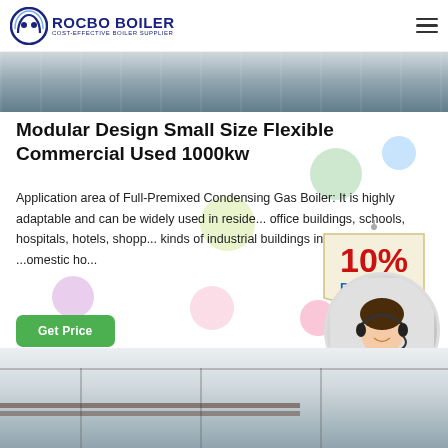ROCBO BOILER — COST-EFFECTIVE BOILER SUPPLIER
[Figure (photo): Industrial boiler facility interior — top banner image strip]
Modular Design Small Size Flexible Commercial Used 1000kw
Application area of Full-Premixed Condensing Gas Boiler: It is highly adaptable and can be widely used in residential, office buildings, schools, hospitals, hotels, shopping malls, all kinds of industrial buildings in winter heating and domestic hot...
[Figure (infographic): 10% DISCOUNT badge overlay]
[Figure (photo): Customer service representative with headset — circular photo]
[Figure (photo): Industrial building interior — bottom image strip]